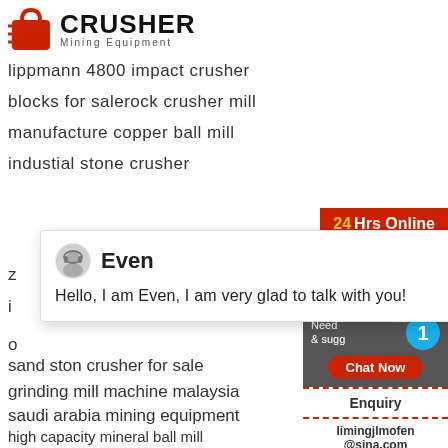[Figure (logo): Crusher Mining Equipment logo with red shopping bag icon and bold text]
lippmann 4800 impact crusher
blocks for salerock crusher mill
manufacture copper ball mill
industial stone crusher
z...
i...
o...
sand ston crusher for sale
grinding mill machine malaysia
saudi arabia mining equipment
high capacity mineral ball mill
china jilin shanwei wollastonite mining co
24Hrs Online
Even
Hello, I am Even, I am very glad to talk with you!
Need... & sugg...
Chat Now
Enquiry
limingjlmofen@sina.com